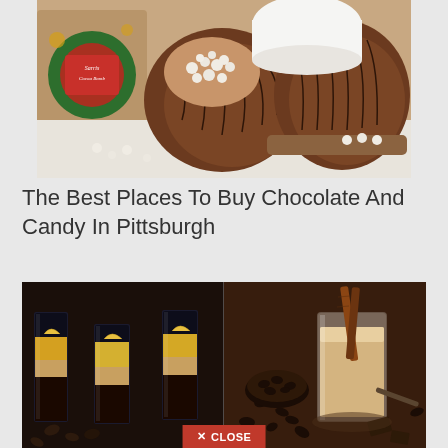[Figure (photo): Photo of Sarris Cocoa Bomb chocolate product packaging and two chocolate spheres, one open showing white mini marshmallows inside, on a white surface with scattered marshmallows and a wooden spoon.]
The Best Places To Buy Chocolate And Candy In Pittsburgh
[Figure (photo): Left half: three layered shot glasses with dark coffee and yellow liqueur layers on a dark background with coffee beans. Right half: a glass of creamy coffee drink with two cinnamon sticks, surrounded by coffee beans and chocolate pieces on a dark wooden surface.]